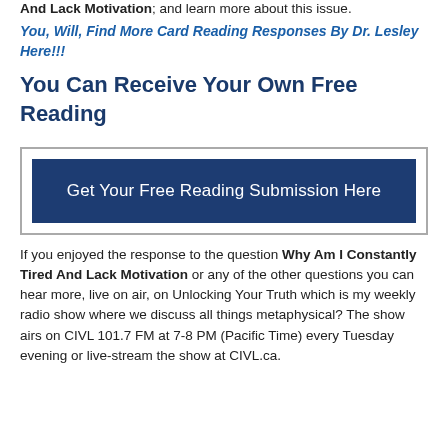And Lack Motivation; and learn more about this issue.
You, Will, Find More Card Reading Responses By Dr. Lesley Here!!!
You Can Receive Your Own Free Reading
[Figure (other): Dark blue button with white text: Get Your Free Reading Submission Here, inside a bordered box]
If you enjoyed the response to the question Why Am I Constantly Tired And Lack Motivation or any of the other questions you can hear more, live on air, on Unlocking Your Truth which is my weekly radio show where we discuss all things metaphysical? The show airs on CIVL 101.7 FM at 7-8 PM (Pacific Time) every Tuesday evening or live-stream the show at CIVL.ca.